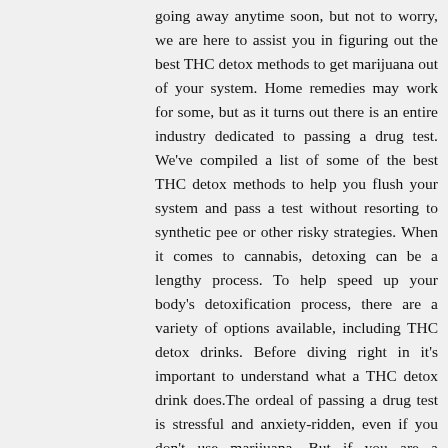going away anytime soon, but not to worry, we are here to assist you in figuring out the best THC detox methods to get marijuana out of your system. Home remedies may work for some, but as it turns out there is an entire industry dedicated to passing a drug test. We've compiled a list of some of the best THC detox methods to help you flush your system and pass a test without resorting to synthetic pee or other risky strategies. When it comes to cannabis, detoxing can be a lengthy process. To help speed up your body's detoxification process, there are a variety of options available, including THC detox drinks. Before diving right in it's important to understand what a THC detox drink does.The ordeal of passing a drug test is stressful and anxiety-ridden, even if you don't use marijuana. But if you are a recreational user and wish to pass a test, then it is possible to pass surprise drug testing through